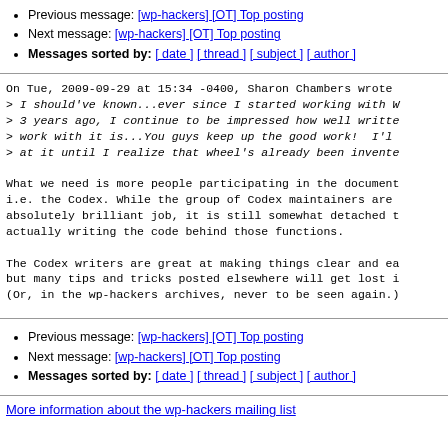Previous message: [wp-hackers] [OT] Top posting
Next message: [wp-hackers] [OT] Top posting
Messages sorted by: [ date ] [ thread ] [ subject ] [ author ]
On Tue, 2009-09-29 at 15:34 -0400, Sharon Chambers wrote:
> I should've known...ever since I started working with W
> 3 years ago, I continue to be impressed how well writte
> work with it is...You guys keep up the good work! I'll
> at it until I realize that wheel's already been invente

What we need is more people participating in the document
i.e. the Codex. While the group of Codex maintainers are
absolutely brilliant job, it is still somewhat detached t
actually writing the code behind those functions.

The Codex writers are great at making things clear and ea
but many tips and tricks posted elsewhere will get lost i
(Or, in the wp-hackers archives, never to be seen again.)
Previous message: [wp-hackers] [OT] Top posting
Next message: [wp-hackers] [OT] Top posting
Messages sorted by: [ date ] [ thread ] [ subject ] [ author ]
More information about the wp-hackers mailing list